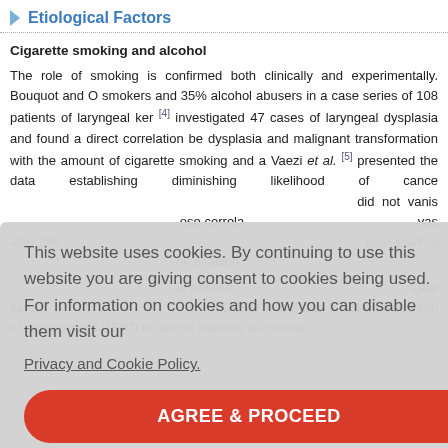Etiological Factors
Cigarette smoking and alcohol
The role of smoking is confirmed both clinically and experimentally. Bouquot and O smokers and 35% alcohol abusers in a case series of 108 patients of laryngeal ker [4] investigated 47 cases of laryngeal dysplasia and found a direct correlation be dysplasia and malignant transformation with the amount of cigarette smoking and a Vaezi et al. [5] presented the data establishing diminishing likelihood of cance did not vanis ose correla vas also link onal pack o nk of alcoh al reflux di ngeal carci of GERD w and also a higher proportion of symptomatic GERD in cancer patients as compa
This website uses cookies. By continuing to use this website you are giving consent to cookies being used. For information on cookies and how you can disable them visit our Privacy and Cookie Policy. AGREE & PROCEED